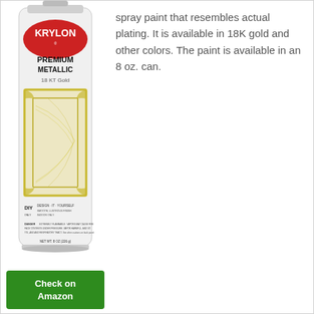[Figure (photo): Krylon Premium Metallic 18 KT Gold spray paint can, white can with red oval Krylon logo, gold decorative frame image on the can body, with green Check on Amazon button below]
spray paint that resembles actual plating. It is available in 18K gold and other colors. The paint is available in an 8 oz. can.